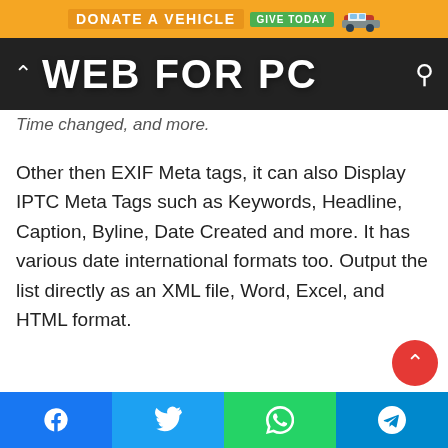[Figure (infographic): Orange advertisement banner with text 'DONATE A VEHICLE' and 'GIVE TODAY' button, and a car graphic]
WEB FOR PC
Time changed, and more.
Other then EXIF Meta tags, it can also Display IPTC Meta Tags such as Keywords, Headline, Caption, Byline, Date Created and more. It has various date international formats too. Output the list directly as an XML file, Word, Excel, and HTML format.
[Figure (infographic): Social media share buttons bar: Facebook (blue), Twitter (cyan), WhatsApp (green), Telegram (dark cyan)]